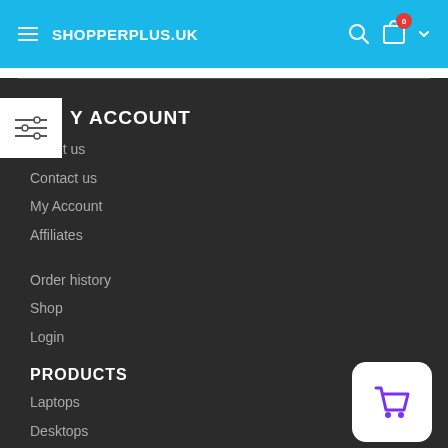SHOPPERPLUS.UK
MY ACCOUNT
About us
Contact us
My Account
Affiliates
Order history
Shop
Login
PRODUCTS
Laptops
Desktops
Workstations
Components
[Figure (illustration): Shopping cart icon button, purple on white rounded square background]